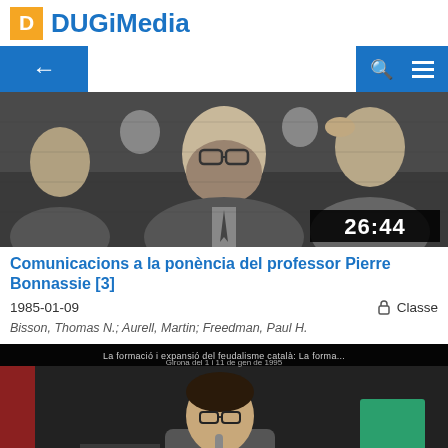DUGiMedia
[Figure (screenshot): Navigation bar with back arrow button on left and search/menu icons on right, blue background]
[Figure (photo): Black and white video thumbnail showing a man with glasses and beard at a conference, duration 26:44]
Comunicacions a la ponència del professor Pierre Bonnassie [3]
1985-01-09    Classe
Bisson, Thomas N.; Aurell, Martin; Freedman, Paul H.
[Figure (screenshot): Color video thumbnail showing a man with glasses at a podium, with text overlay about feudalism, duration 1:12:27]